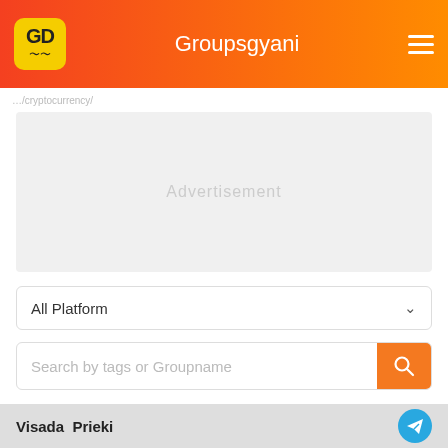Groupsgyani
[Figure (screenshot): Advertisement placeholder block with light gray background]
All Platform
Search by tags or Groupname
Join & Submit WhatsaApp, Telegram & Discord Cryptocurrency Group, Channel & Server links
Visada  Prieki